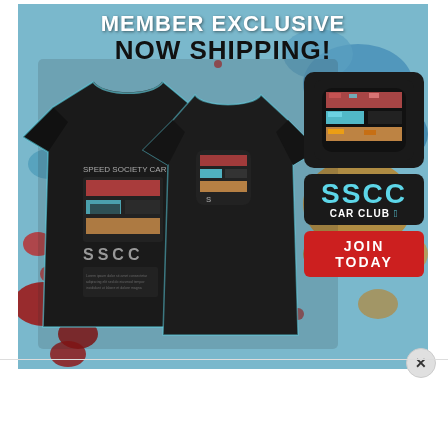[Figure (illustration): Promotional advertisement for SSCC Car Club member exclusive t-shirt. Shows two black t-shirts (front and back views) featuring colorful paint splatter 'S' logo and SSCC text. Background has blue, red, tan paint splatter pattern. Top text reads 'MEMBER EXCLUSIVE NOW SHIPPING!'. Right side shows logo badge, SSCC CAR CLUB badge, and red JOIN TODAY button.]